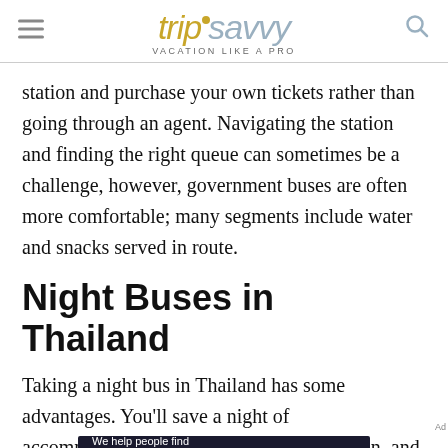tripsavvy VACATION LIKE A PRO
station and purchase your own tickets rather than going through an agent. Navigating the station and finding the right queue can sometimes be a challenge, however, government buses are often more comfortable; many segments include water and snacks served in route.
Night Buses in Thailand
Taking a night bus in Thailand has some advantages. You'll save a night of accommodation, wake up at your destination, and won't waste a nice day moving between
[Figure (other): Dotdash Meredith advertisement banner: 'We help people find answers, solve problems and get inspired.' with Dotdash Meredith logo]